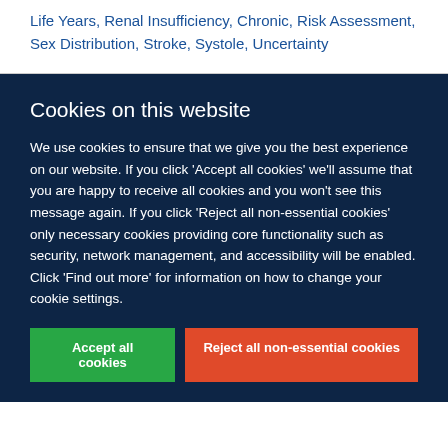Life Years, Renal Insufficiency, Chronic, Risk Assessment, Sex Distribution, Stroke, Systole, Uncertainty
Cookies on this website
We use cookies to ensure that we give you the best experience on our website. If you click 'Accept all cookies' we'll assume that you are happy to receive all cookies and you won't see this message again. If you click 'Reject all non-essential cookies' only necessary cookies providing core functionality such as security, network management, and accessibility will be enabled. Click 'Find out more' for information on how to change your cookie settings.
Accept all cookies
Reject all non-essential cookies